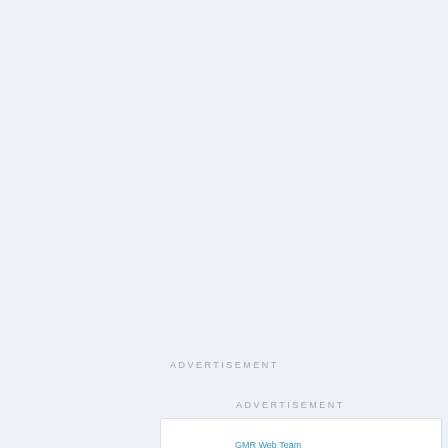ADVERTISEMENT
ADVERTISEMENT
[Figure (other): GMR Web Team advertisement banner with logo, text 'Urgent Care Center Marketing', and 'Contact Us' button]